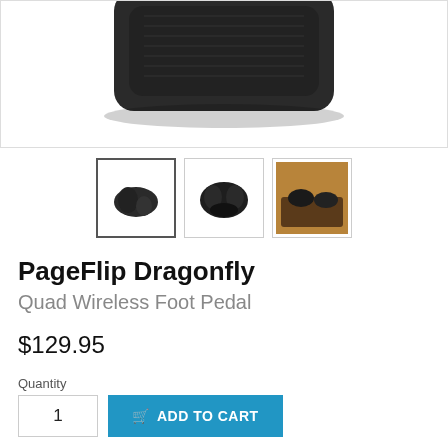[Figure (photo): Main product image of PageFlip Dragonfly quad wireless foot pedal, showing the dark/black device from above, partially cropped at the top]
[Figure (photo): Three product thumbnail images: first (selected, with border) shows the foot pedal from a side angle, second shows front view of the device, third shows the device in a lifestyle/context photo with warm/brown tones]
PageFlip Dragonfly
Quad Wireless Foot Pedal
$129.95
Quantity
1
ADD TO CART